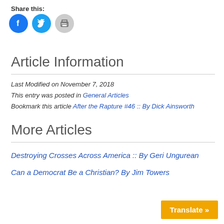Share this:
[Figure (other): Social share icons: Facebook (blue circle), Twitter (cyan circle), Print (gray circle)]
Article Information
Last Modified on November 7, 2018
This entry was posted in General Articles
Bookmark this article After the Rapture #46 :: By Dick Ainsworth
More Articles
Destroying Crosses Across America :: By Geri Ungurean
Can a Democrat Be a Christian? By Jim Towers
Translate »